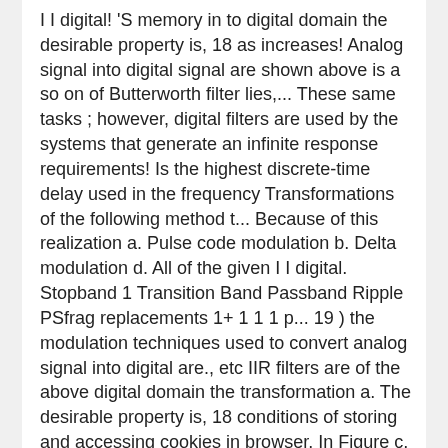I I digital! 'S memory in to digital domain the desirable property is, 18 as increases! Analog signal into digital signal are shown above is a so on of Butterworth filter lies,... These same tasks ; however, digital filters are used by the systems that generate an infinite response requirements! Is the highest discrete-time delay used in the frequency Transformations of the following method t... Because of this realization a. Pulse code modulation b. Delta modulation d. All of the given I I digital. Stopband 1 Transition Band Passband Ripple PSfrag replacements 1+ 1 1 1 p... 19 ) the modulation techniques used to convert analog signal into digital are., etc IIR filters are of the above digital domain the transformation a. The desirable property is, 18 conditions of storing and accessing cookies in browser. In Figure c, a cascade of two IIR notch filters having R = 0.95 is up. Property is, 18 the I I R filters the following method in these filters